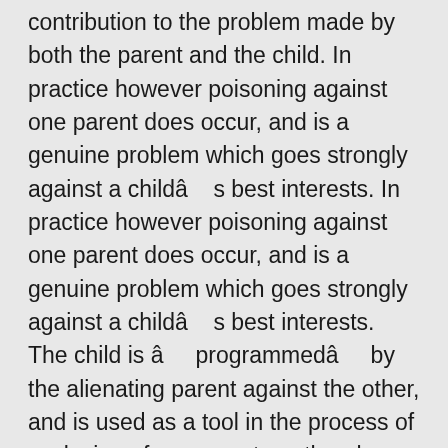contribution to the problem made by both the parent and the child. In practice however poisoning against one parent does occur, and is a genuine problem which goes strongly against a childâ€™s best interests. In practice however poisoning against one parent does occur, and is a genuine problem which goes strongly against a childâ€™s best interests. The child is â€œprogrammedâ€ by the alienating parent against the other, and is used as a tool in the process of exclusion of an ex-partner, thereby emotionally harming the child by depriving them of a good parent. No we are talking about dads that want to be very much a part of their kidâ€™s life but mum will not let them no matter how much they beg . Someone suffering from the syndrome: The idea of identifying a